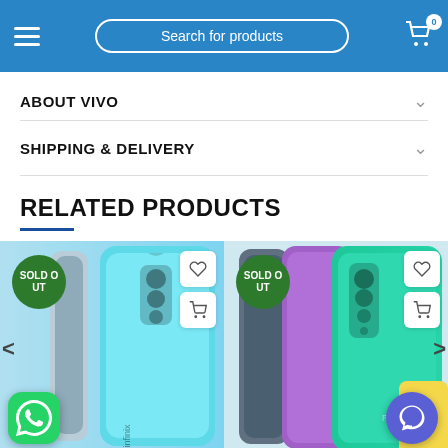Search for products | Cart 0
ABOUT VIVO
SHIPPING & DELIVERY
RELATED PRODUCTS
[Figure (screenshot): Two related smartphone product cards each showing SOLD OUT badge, product images (Infinix and Redmi phones), wishlist and add-to-cart buttons, WhatsApp contact button, and chat bubble icon. Navigation arrows on left and right.]